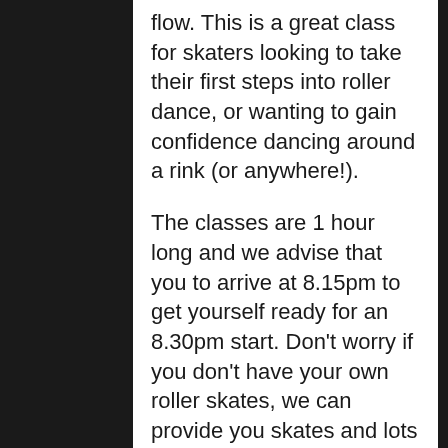flow. This is a great class for skaters looking to take their first steps into roller dance, or wanting to gain confidence dancing around a rink (or anywhere!).

The classes are 1 hour long and we advise that you to arrive at 8.15pm to get yourself ready for an 8.30pm start. Don't worry if you don't have your own roller skates, we can provide you skates and lots of protection, so you feel comfortable learning new skills. However, we do recommend buying your own skates as this will make a massive difference to your skating ability and you will advance quicker. We have lots of great skates at discounted prices, so please let us know what you